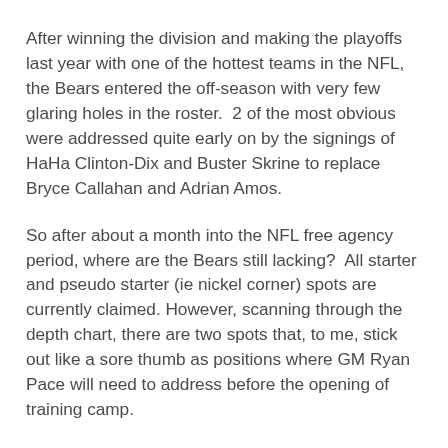After winning the division and making the playoffs last year with one of the hottest teams in the NFL, the Bears entered the off-season with very few glaring holes in the roster.  2 of the most obvious were addressed quite early on by the signings of HaHa Clinton-Dix and Buster Skrine to replace Bryce Callahan and Adrian Amos.
So after about a month into the NFL free agency period, where are the Bears still lacking?  All starter and pseudo starter (ie nickel corner) spots are currently claimed. However, scanning through the depth chart, there are two spots that, to me, stick out like a sore thumb as positions where GM Ryan Pace will need to address before the opening of training camp.
The first is depth at edge rusher.  Risk of injury aside, the starter spots are locked here with All-World talent Khalil Mack and former first-rounder Leonard Floyd.  In 2018, Leonard Floyd led the position with playing 75% of the snaps, followed closely with Mack taking 72% of the snaps. Once the new league year started, two players accounting